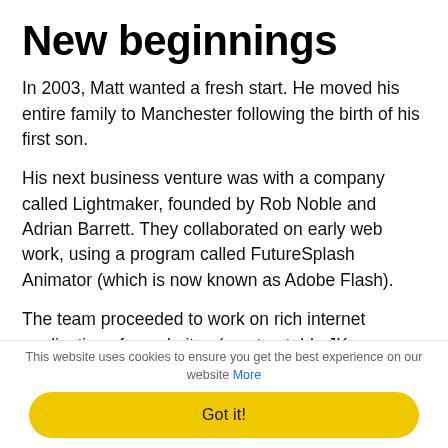New beginnings
In 2003, Matt wanted a fresh start. He moved his entire family to Manchester following the birth of his first son.
His next business venture was with a company called Lightmaker, founded by Rob Noble and Adrian Barrett. They collaborated on early web work, using a program called FutureSplash Animator (which is now known as Adobe Flash).
The team proceeded to work on rich internet applications for websites (most notably JK Rowling's official site!). Matt shared the
This website uses cookies to ensure you get the best experience on our website More
Got it!